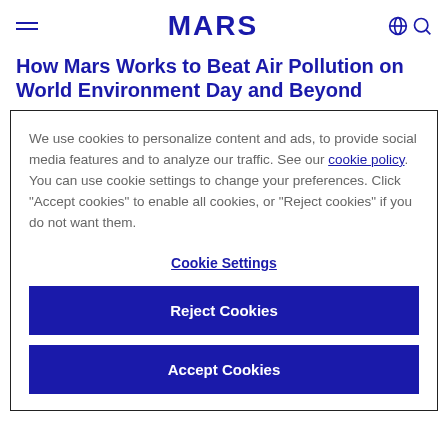MARS
How Mars Works to Beat Air Pollution on World Environment Day and Beyond
We use cookies to personalize content and ads, to provide social media features and to analyze our traffic. See our cookie policy. You can use cookie settings to change your preferences. Click "Accept cookies" to enable all cookies, or "Reject cookies" if you do not want them.
Cookie Settings
Reject Cookies
Accept Cookies